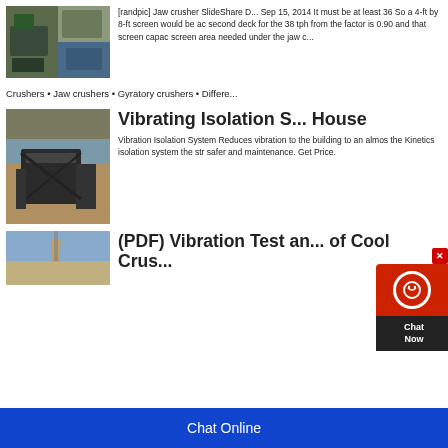[Figure (photo): Industrial crushers and mining equipment collage]
[randpic] Jaw crusher SlideShare D... Sep 15, 2014 It must be at least 36 So a 4-ft by 8-ft screen would be ac second deck for the 38 tph from the factor is 0.90 and that screen capac screen area needed under the jaw c...
Crushers • Jaw crushers • Gyratory crushers • Differe...
[Figure (photo): Mining jaw crusher in open pit quarry]
Vibrating Isolation S... House
Vibration Isolation System Reduces vibration to the building to an almos the Kinetics isolation system the str safer and maintenance. Get Price.
[Figure (photo): Industrial structure with person, vibration test]
(PDF) Vibration Test an... of Cool Crus...
Chat Online